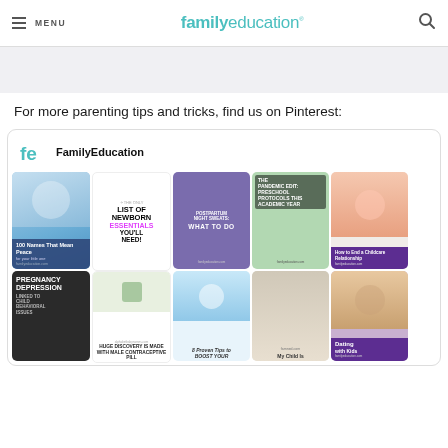MENU | familyeducation
For more parenting tips and tricks, find us on Pinterest:
[Figure (screenshot): Pinterest board embed for FamilyEducation showing a grid of parenting article pin thumbnails including: 100 Names That Mean Peace, The Only List of Newborn Essentials You'll Need!, Postpartum Night Sweats: What To Do, The Pandemic Edit: Preschool Protocols This Academic Year, How to End a Childcare Relationship, Pregnancy Depression Linked to Child Behavioral Issues, Huge Discovery is Made With Male Contraceptive Pill, 8 Proven Tips to Boost Your [Milk Supply], My Child Is..., Dating with Kids]